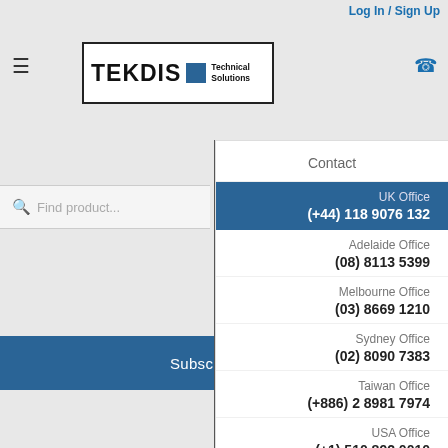Log In / Sign Up
[Figure (logo): TEKDIS Technical Solutions logo in bordered box]
Find product...
Subscribe ▶
[Figure (screenshot): Social media icons: Facebook, LinkedIn, YouTube]
[Figure (logo): TEKDIS Technical Solutions watermark logo]
Contact
UK Office
(+44) 118 9076 132
Adelaide Office
(08) 8113 5399
Melbourne Office
(03) 8669 1210
Sydney Office
(02) 8090 7383
Taiwan Office
(+886) 2 8981 7974
USA Office
(+1) 510 892 0010
Terms & Conditions | Privacy Policy | Disclaimer